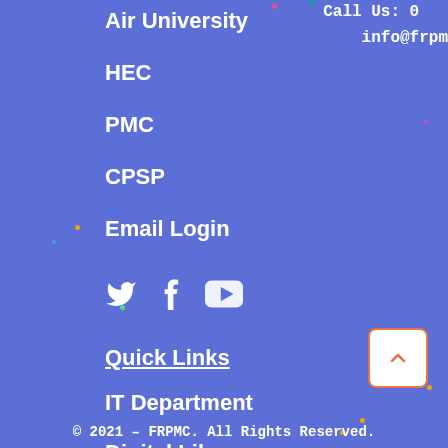Air University
HEC
PMC
CPSP
Email Login
[Figure (infographic): Social media icons: Twitter bird, Facebook f, YouTube play button]
Quick Links
IT Department
Digital Library
© 2021 – FRPMC. All Rights Reserved.